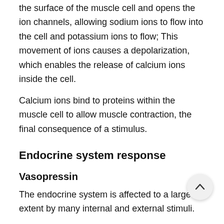the surface of the muscle cell and opens the ion channels, allowing sodium ions to flow into the cell and potassium ions to flow; This movement of ions causes a depolarization, which enables the release of calcium ions inside the cell.
Calcium ions bind to proteins within the muscle cell to allow muscle contraction, the final consequence of a stimulus.
Endocrine system response
Vasopressin
The endocrine system is affected to a large extent by many internal and external stimuli.
An internal stimulus that causes the release of the hormone in blood pressure. Hypotension, or low blood